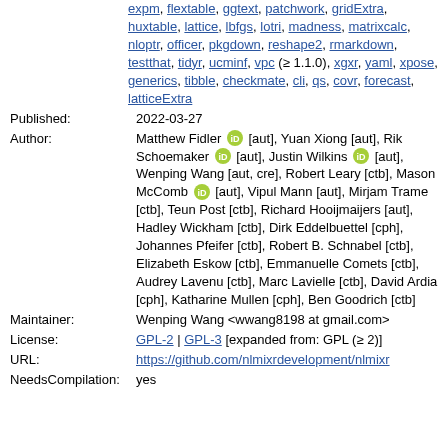expm, flextable, ggtext, patchwork, gridExtra, huxtable, lattice, lbfgs, lotri, madness, matrixcalc, nloptr, officer, pkgdown, reshape2, rmarkdown, testthat, tidyr, ucminf, vpc (≥ 1.1.0), xgxr, yaml, xpose, generics, tibble, checkmate, cli, qs, covr, forecast, latticeExtra
Published: 2022-03-27
Author: Matthew Fidler [aut], Yuan Xiong [aut], Rik Schoemaker [aut], Justin Wilkins [aut], Wenping Wang [aut, cre], Robert Leary [ctb], Mason McComb [aut], Vipul Mann [aut], Mirjam Trame [ctb], Teun Post [ctb], Richard Hooijmaijers [aut], Hadley Wickham [ctb], Dirk Eddelbuettel [cph], Johannes Pfeifer [ctb], Robert B. Schnabel [ctb], Elizabeth Eskow [ctb], Emmanuelle Comets [ctb], Audrey Lavenu [ctb], Marc Lavielle [ctb], David Ardia [cph], Katharine Mullen [cph], Ben Goodrich [ctb]
Maintainer: Wenping Wang <wwang8198 at gmail.com>
License: GPL-2 | GPL-3 [expanded from: GPL (≥ 2)]
URL: https://github.com/nlmixrdevelopment/nlmixr
NeedsCompilation: yes